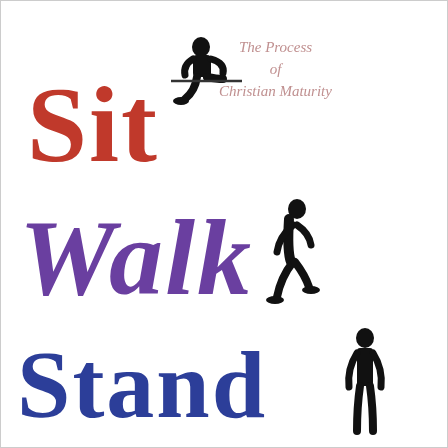Sit Walk Stand
The Process of Christian Maturity
[Figure (illustration): Three black silhouettes of human figures: one seated on a ledge (top), one walking (middle), one standing upright (bottom right)]